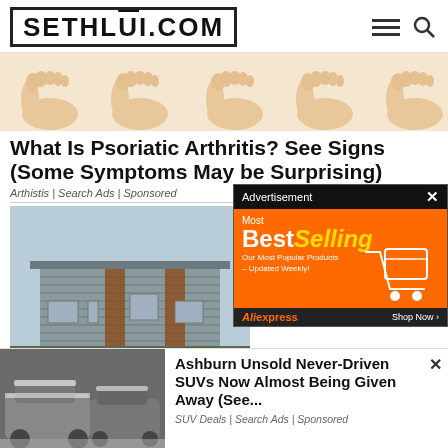SETHLUI.COM
[Figure (illustration): Row of cartoon illustrated human feet/toes from above, beige skin tone]
What Is Psoriatic Arthritis? See Signs (Some Symptoms May be Surprising)
Arthistis | Search Ads | Sponsored
[Figure (photo): Modern flat-roof house with grey horizontal siding and wood accent panels]
[Figure (photo): Advertisement banner: Most BestSelling - Our Most Popular Products - Updated Weekly! AliExpress Shop Now]
[Figure (photo): Snow-covered cars parked outdoors]
Ashburn Unsold Never-Driven SUVs Now Almost Being Given Away (See...
SUV Deals | Search Ads | Sponsored